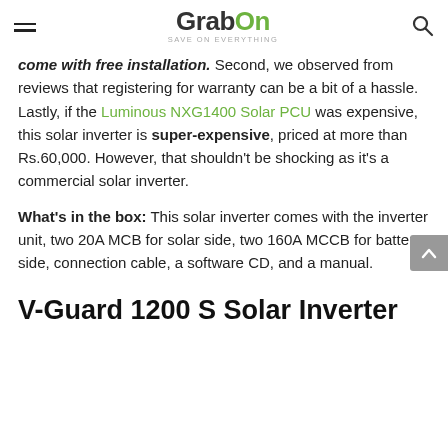GrabOn - SAVE ON EVERYTHING
come with free installation. Second, we observed from reviews that registering for warranty can be a bit of a hassle. Lastly, if the Luminous NXG1400 Solar PCU was expensive, this solar inverter is super-expensive, priced at more than Rs.60,000. However, that shouldn't be shocking as it's a commercial solar inverter.
What's in the box: This solar inverter comes with the inverter unit, two 20A MCB for solar side, two 160A MCCB for battery side, connection cable, a software CD, and a manual.
V-Guard 1200 S Solar Inverter